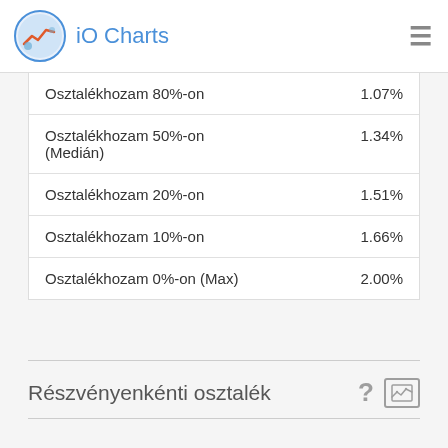iO Charts
| Osztalékhozam 80%-on | 1.07% |
| Osztalékhozam 50%-on (Medián) | 1.34% |
| Osztalékhozam 20%-on | 1.51% |
| Osztalékhozam 10%-on | 1.66% |
| Osztalékhozam 0%-on (Max) | 2.00% |
Részvényenkénti osztalék